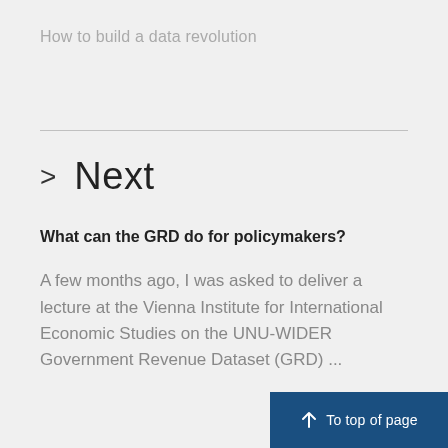How to build a data revolution
> Next
What can the GRD do for policymakers?
A few months ago, I was asked to deliver a lecture at the Vienna Institute for International Economic Studies on the UNU-WIDER Government Revenue Dataset (GRD) ...
To top of page